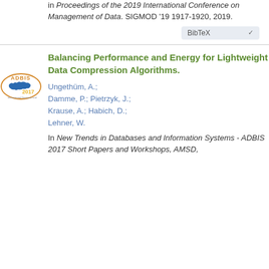in Proceedings of the 2019 International Conference on Management of Data. SIGMOD '19 1917-1920, 2019.
[Figure (logo): ADBIS 2017 conference logo — oval with blue Cyprus island silhouette and text 'ADBIS 2017']
Balancing Performance and Energy for Lightweight Data Compression Algorithms.
Ungethüm, A.; Damme, P.; Pietrzyk, J.; Krause, A.; Habich, D.; Lehner, W.
In New Trends in Databases and Information Systems - ADBIS 2017 Short Papers and Workshops, AMSD, ...